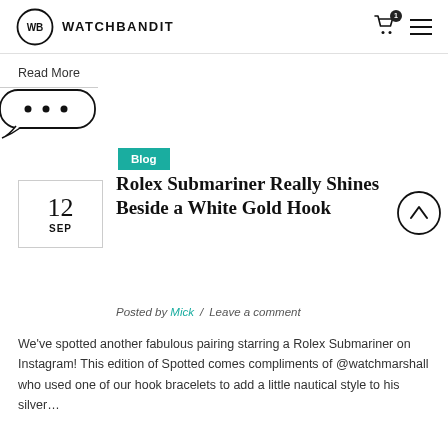WB WATCHBANDIT
Read More
[Figure (illustration): Speech bubble with three dots (ellipsis) icon, partially cut off on left edge]
Blog
12 SEP
Rolex Submariner Really Shines Beside a White Gold Hook
[Figure (illustration): Circular up-arrow button/icon on the right side]
Posted by Mick / Leave a comment
We've spotted another fabulous pairing starring a Rolex Submariner on Instagram! This edition of Spotted comes compliments of @watchmarshall who used one of our hook bracelets to add a little nautical style to his silver…